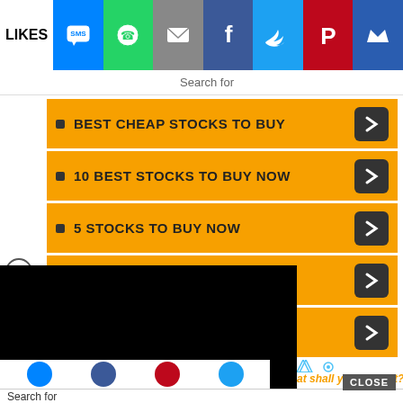[Figure (screenshot): Social media share bar with LIKES label, SMS/WhatsApp/Email/Facebook/Twitter/Pinterest/Crown icons]
Search for
BEST CHEAP STOCKS TO BUY
10 BEST STOCKS TO BUY NOW
5 STOCKS TO BUY NOW
TOP 5 DIVIDEND STOCKS TO
TO BUY IN 2022
[Figure (screenshot): Black video player overlay covering left portion of screen]
at shall you do next? Consider:
Search for
CLOSE
[Figure (screenshot): Victoria's Secret advertisement with model photo, VS logo, SHOP THE COLLECTION text, and SHOP NOW button]